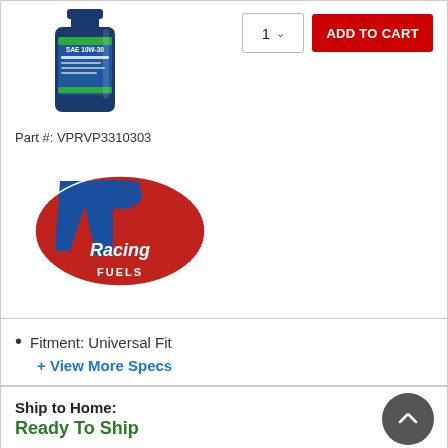[Figure (photo): Motor oil bottle (SAE 10W-30) product image]
[Figure (logo): VP Racing Fuels logo with blue VP letters and red oval background]
Part #: VPRVP3310303
Fitment: Universal Fit
+ View More Specs
Ship to Home:
Ready To Ship
Free! Curbside & In-Store Pickup:
VIEW OFFERS (18) ^